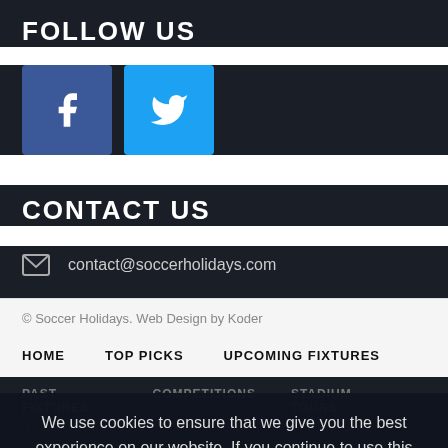FOLLOW US
[Figure (illustration): Facebook icon button (blue square) and Twitter icon button (cyan square) side by side]
CONTACT US
contact@soccerholidays.com
© Soccer Holidays. Web Design by Koder
HOME   TOP PICKS   UPCOMING FIXTURES
PAST FIXTURES   COMPETITIONS   STADIUM TOURS
NEWS   FAQ   HOME   IS & US
CONTACT
We use cookies to ensure that we give you the best experience on our website. If you continue to use this site we will assume that you are happy with it.